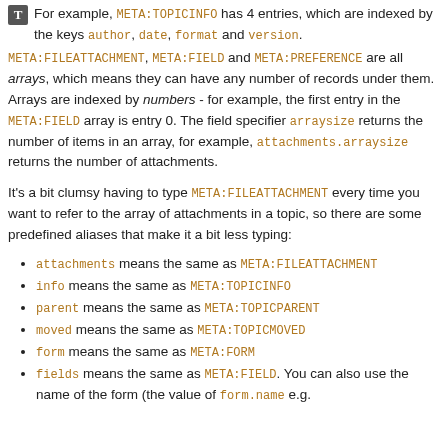For example, META:TOPICINFO has 4 entries, which are indexed by the keys author, date, format and version. META:FILEATTACHMENT, META:FIELD and META:PREFERENCE are all arrays, which means they can have any number of records under them. Arrays are indexed by numbers - for example, the first entry in the META:FIELD array is entry 0. The field specifier arraysize returns the number of items in an array, for example, attachments.arraysize returns the number of attachments.
It's a bit clumsy having to type META:FILEATTACHMENT every time you want to refer to the array of attachments in a topic, so there are some predefined aliases that make it a bit less typing:
attachments means the same as META:FILEATTACHMENT
info means the same as META:TOPICINFO
parent means the same as META:TOPICPARENT
moved means the same as META:TOPICMOVED
form means the same as META:FORM
fields means the same as META:FIELD. You can also use the name of the form (the value of form.name e.g.